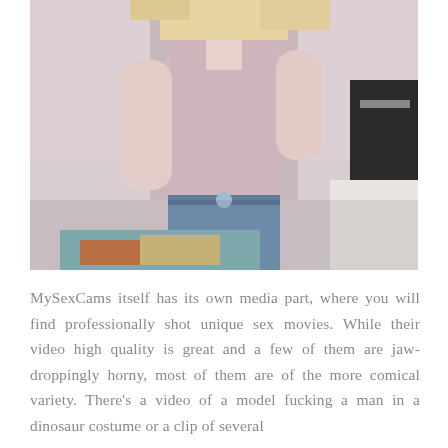[Figure (photo): A young blonde woman wearing a light pink tank top and blue denim shorts, standing in a room with an abstract painting and dark furniture visible in the background.]
MySexCams itself has its own media part, where you will find professionally shot unique sex movies. While their video high quality is great and a few of them are jaw-droppingly horny, most of them are of the more comical variety. There's a video of a model fucking a man in a dinosaur costume or a clip of several